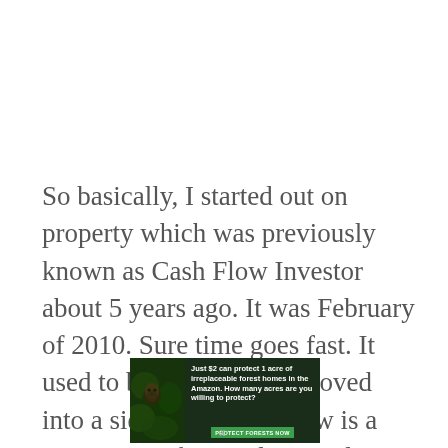So basically, I started out on property which was previously known as Cash Flow Investor about 5 years ago. It was February of 2010. Sure time goes fast. It used to be a hobby that moved into a side project and now is a major part of my online media
[Figure (infographic): Green advertisement banner for Amazon forest protection: 'Just $2 can protect 1 acre of irreplaceable forest homes in the Amazon. How many acres are you willing to protect?' with a 'PROTECT FORESTS NOW' button, featuring a forest/animal image on the left.]
x